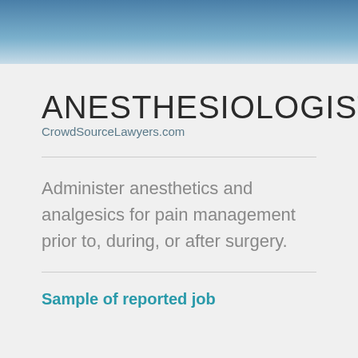ANESTHESIOLOGISTS
CrowdSourceLawyers.com
Administer anesthetics and analgesics for pain management prior to, during, or after surgery.
Sample of reported job